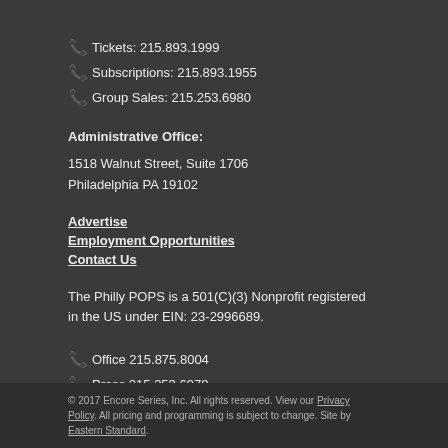Tickets: 215.893.1999
Subscriptions: 215.893.1955
Group Sales: 215.253.6980
Administrative Office:
1518 Walnut Street, Suite 1706
Philadelphia PA 19102
Advertise
Employment Opportunities
Contact Us
The Philly POPS is a 501(C)(3) Nonprofit registered in the US under EIN: 23-2996689.
Office 215.875.8004
Press 215.253.6978
© 2017 Encore Series, Inc. All rights reserved. View our Privacy Policy. All pricing and programming is subject to change. Site by Eastern Standard.